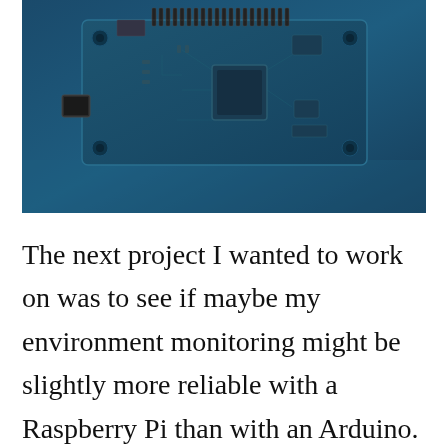[Figure (photo): A Raspberry Pi single-board computer photographed from above against a blue background, showing the circuit board with GPIO pins, USB port, HDMI port, and various electronic components.]
The next project I wanted to work on was to see if maybe my environment monitoring might be slightly more reliable with a Raspberry Pi than with an Arduino. So I wanted to do some comparisons. For my